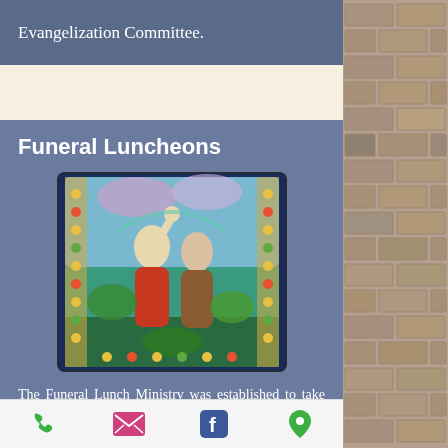Evangelization Committee.
Funeral Luncheons
[Figure (illustration): Stained glass window depicting two religious figures, one with arm raised upward, with colorful background of blues, greens, and golds.]
The Funeral Lunch Ministry was established to take the stress of serving refreshments, after the funeral service, away from the family.  It is the  honor of this group to provide desserts made by